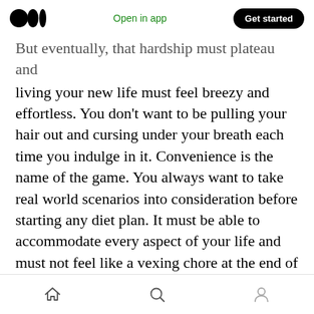Medium logo | Open in app | Get started
But eventually, that hardship must plateau and living your new life must feel breezy and effortless. You don't want to be pulling your hair out and cursing under your breath each time you indulge in it. Convenience is the name of the game. You always want to take real world scenarios into consideration before starting any diet plan. It must be able to accommodate every aspect of your life and must not feel like a vexing chore at the end of the day.
Veganism is mentally taxing as it is emotionally exhausting.
Home | Search | Profile